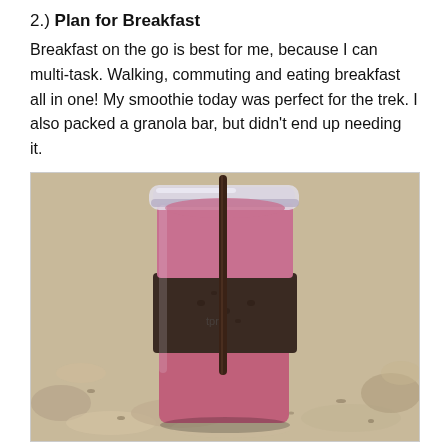2.) Plan for Breakfast
Breakfast on the go is best for me, because I can multi-task. Walking, commuting and eating breakfast all in one! My smoothie today was perfect for the trek. I also packed a granola bar, but didn't end up needing it.
[Figure (photo): A purple/berry smoothie in a clear plastic tumbler with a dark sleeve and a dark straw, sitting on a granite countertop.]